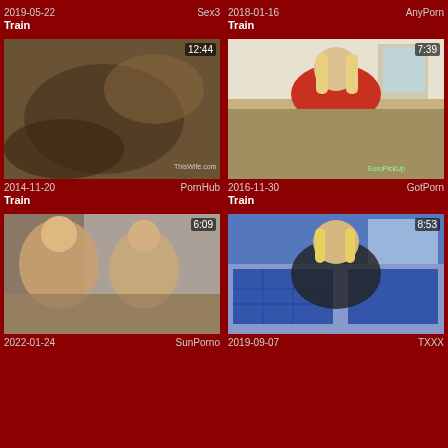2019-05-22  Sex3
Train
2018-01-16  AnyPorn
Train
[Figure (photo): Video thumbnail with duration 12:44, dated 2014-11-20, source PornHub, title Train]
[Figure (photo): Video thumbnail with duration 7:39, dated 2016-11-30, source GotPorn, title Train]
[Figure (photo): Video thumbnail with duration 6:09, dated 2022-01-24, source SunPorno]
[Figure (photo): Video thumbnail with duration 8:53, dated 2019-09-07, source TXXX]